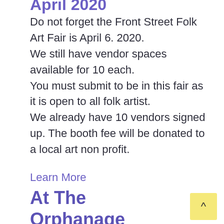April 2020
Do not forget the Front Street Folk Art Fair is April 6. 2020. We still have vendor spaces available for 10 each. You must submit to be in this fair as it is open to all folk artist. We already have 10 vendors signed up. The booth fee will be donated to a local art non profit.
Learn More
At The Orphanage Every Day